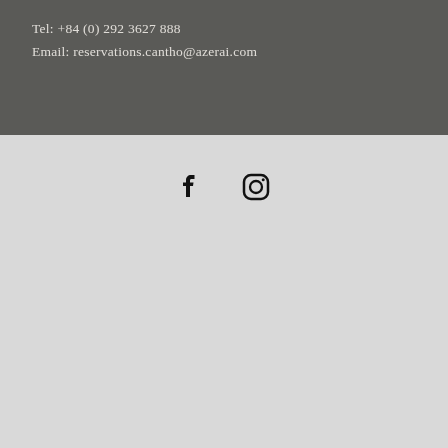Tel: +84 (0) 292 3627 888
Email: reservations.cantho@azerai.com
[Figure (other): Facebook and Instagram social media icons displayed in black on a light grey background]